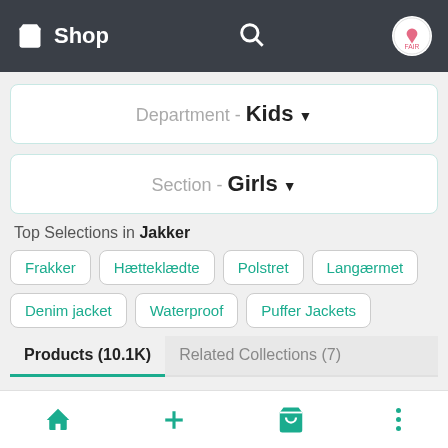Shop
Department - Kids
Section - Girls
Top Selections in Jakker
Frakker
Hætteklædte
Polstret
Langærmet
Denim jacket
Waterproof
Puffer Jackets
Products (10.1K)
Related Collections (7)
Jakker  X